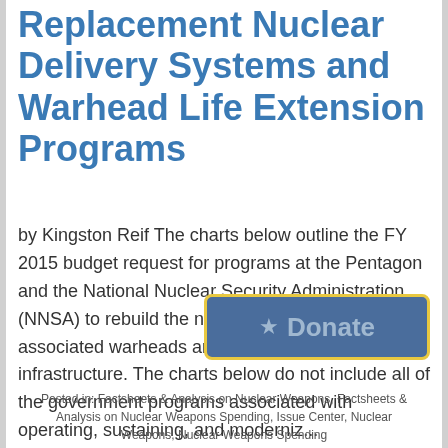Replacement Nuclear Delivery Systems and Warhead Life Extension Programs
by Kingston Reif The charts below outline the FY 2015 budget request for programs at the Pentagon and the National Nuclear Security Administration (NNSA) to rebuild the nuclear triad and its associated warheads and their supporting infrastructure. The charts below do not include all of the government programs associated with operating, sustaining, and moderniz...
[Figure (other): Donate button with star icon, blue background and yellow border]
Posted in: Factsheets & Analysis on Nuclear Weapons, Factsheets & Analysis on Nuclear Weapons Spending, Issue Center, Nuclear Weapons, Nuclear Weapons Spending